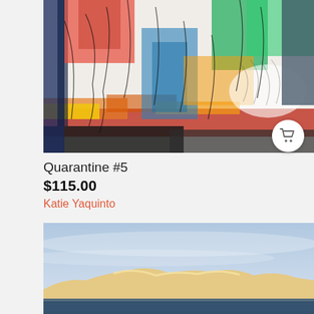[Figure (illustration): Abstract colorful artwork with bold strokes of red, orange, green, blue, yellow, black mixed media painting on white background - Quarantine #5 by Katie Yaquinto]
Quarantine #5
$115.00
Katie Yaquinto
[Figure (photo): Landscape painting showing a light blue sky with warm golden-orange mountain silhouette and dark blue water at the bottom - seascape or lakeside scene]